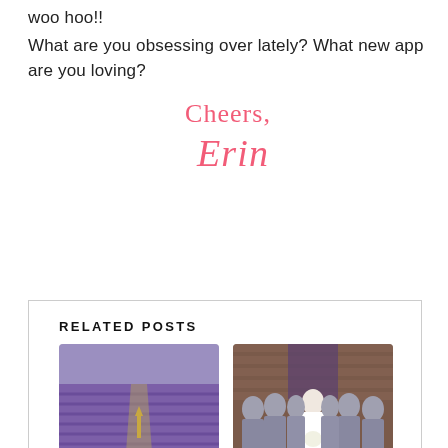woo hoo!!
What are you obsessing over lately? What new app are you loving?
Cheers,
Erin
RELATED POSTS
[Figure (photo): Lavender field with purple rows of lavender and a small figure/lamp post in the middle distance]
5 on Friday :: Sully's
[Figure (photo): Group wedding photo with bride in white dress surrounded by bridesmaids in silver/grey gowns, in front of a brick building]
Gorgeous Charleston